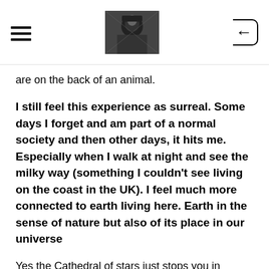[hamburger menu] [header image of person] [back button]
are on the back of an animal.
I still feel this experience as surreal. Some days I forget and am part of a normal society and then other days, it hits me. Especially when I walk at night and see the milky way (something I couldn't see living on the coast in the UK). I feel much more connected to earth living here. Earth in the sense of nature but also of its place in our universe
Yes the Cathedral of stars just stops you in